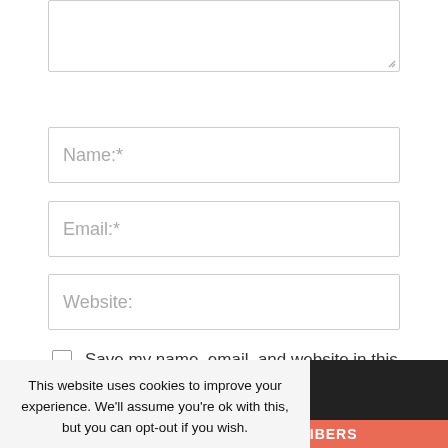[Figure (screenshot): Textarea input field (comment box) with resize handle at bottom-right]
Name:*
Email:*
Website:
Save my name, email, and website in this browser for the next time I comment.
This website uses cookies to improve your experience. We'll assume you're ok with this, but you can opt-out if you wish.
Cookie settings
ACCEPT
JOIN 20,752 OTHER SUBSCRIBERS